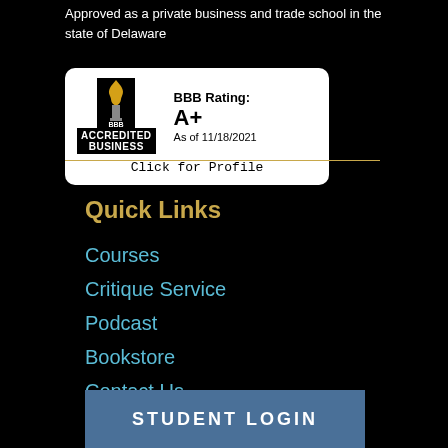Approved as a private business and trade school in the state of Delaware
[Figure (logo): BBB Accredited Business badge showing BBB Rating: A+ As of 11/18/2021, Click for Profile]
Quick Links
Courses
Critique Service
Podcast
Bookstore
Contact Us
STUDENT LOGIN